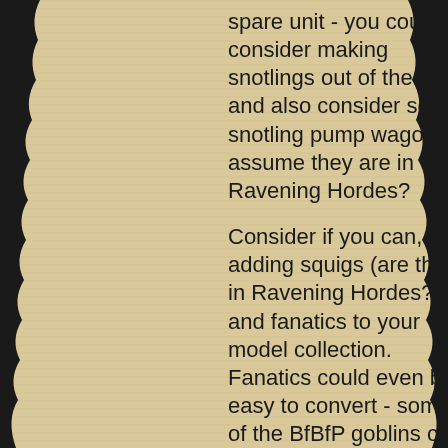spare unit - you could consider making snotlings out of them, and also consider some snotling pump wagons. I assume they are in Ravening Hordes?
Consider if you can, adding squigs (are they in Ravening Hordes?) and fanatics to your model collection. Fanatics could even be easy to convert - some of the BfBfP goblins can have their spears chopped off, and if you have any ball and chains (such as in the Chaos Marauder